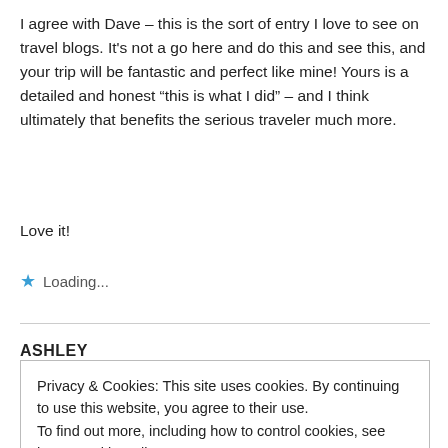I agree with Dave – this is the sort of entry I love to see on travel blogs. It's not a go here and do this and see this, and your trip will be fantastic and perfect like mine! Yours is a detailed and honest “this is what I did” – and I think ultimately that benefits the serious traveler much more.
Love it!
★ Loading...
ASHLEY
Privacy & Cookies: This site uses cookies. By continuing to use this website, you agree to their use.
To find out more, including how to control cookies, see here: Cookie Policy
Close and accept
★ Loading...